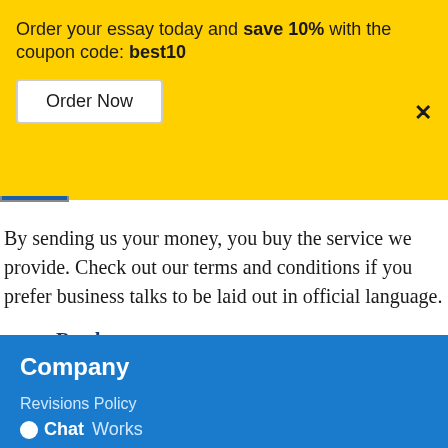Order your essay today and save 10% with the coupon code: best10
Order Now
By sending us your money, you buy the service we provide. Check out our terms and conditions if you prefer business talks to be laid out in official language.
Read more
Company
Revisions Policy
Chat Works